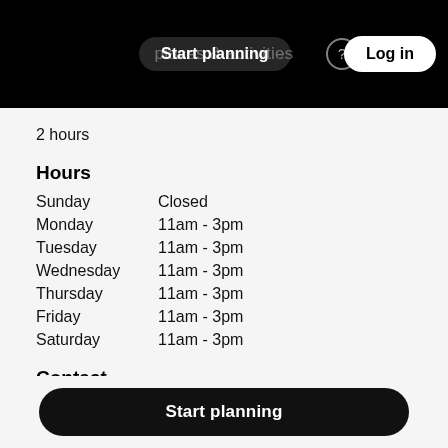Start planning | places & activities | Log in
2 hours
Hours
| Day | Hours |
| --- | --- |
| Sunday | Closed |
| Monday | 11am - 3pm |
| Tuesday | 11am - 3pm |
| Wednesday | 11am - 3pm |
| Thursday | 11am - 3pm |
| Friday | 11am - 3pm |
| Saturday | 11am - 3pm |
Contact
Kongens gate 5,
7011 Trondheim
Start planning